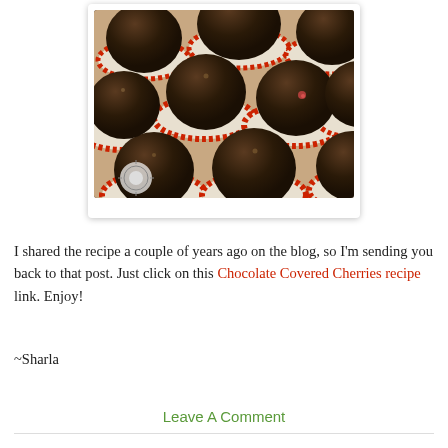[Figure (photo): Photo of chocolate covered cherries in red and white cupcake liners, multiple rows, dark chocolate coating, viewed from above]
I shared the recipe a couple of years ago on the blog, so I'm sending you back to that post. Just click on this Chocolate Covered Cherries recipe link. Enjoy!
~Sharla
Leave A Comment